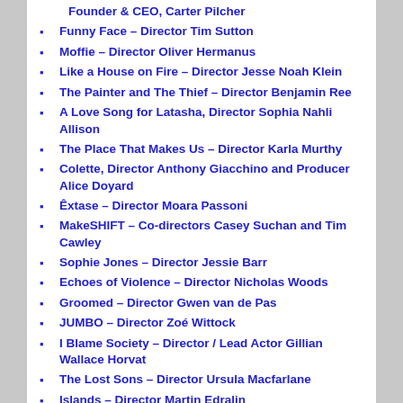Founder & CEO, Carter Pilcher
Funny Face – Director Tim Sutton
Moffie – Director Oliver Hermanus
Like a House on Fire – Director Jesse Noah Klein
The Painter and The Thief – Director Benjamin Ree
A Love Song for Latasha, Director Sophia Nahli Allison
The Place That Makes Us – Director Karla Murthy
Colette, Director Anthony Giacchino and Producer Alice Doyard
Êxtase – Director Moara Passoni
MakeSHIFT – Co-directors Casey Suchan and Tim Cawley
Sophie Jones – Director Jessie Barr
Echoes of Violence – Director Nicholas Woods
Groomed – Director Gwen van de Pas
JUMBO – Director Zoé Wittock
I Blame Society – Director / Lead Actor Gillian Wallace Horvat
The Lost Sons – Director Ursula Macfarlane
Islands – Director Martin Edralin